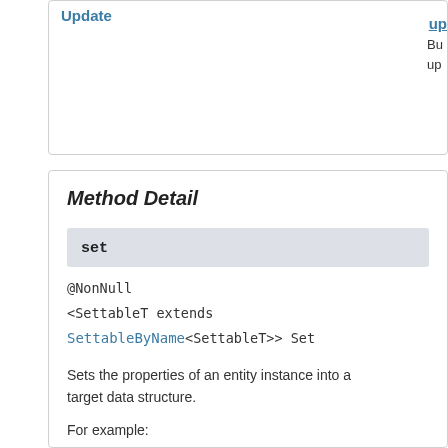Update
up Bu up
Method Detail
set
@NonNull
<SettableT extends SettableByName<SettableT>> Set
Sets the properties of an entity instance into a target data structure.
For example: